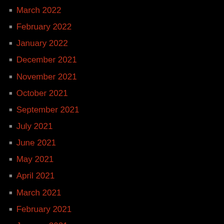March 2022
February 2022
January 2022
December 2021
November 2021
October 2021
September 2021
July 2021
June 2021
May 2021
April 2021
March 2021
February 2021
January 2021
December 2020
November 2020
October 2020
September 2020
August 2020
July 2020
June 2020
May 2020
April 2020
March 2020